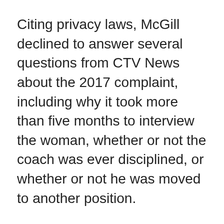Citing privacy laws, McGill declined to answer several questions from CTV News about the 2017 complaint, including why it took more than five months to interview the woman, whether or not the coach was ever disciplined, or whether or not he was moved to another position.
Spokesperson Cynthia Lee said in a brief email that McGill has had a sexual violence policy since 2016, which states that teaching staff, including coaches, are prohibited from entering romantic or sexual relationships with students.
A "special investigator," the policy states, must complete their investigation within 90 days, yet the woman claimed she was never contacted by one. The policy also allows for someone who is